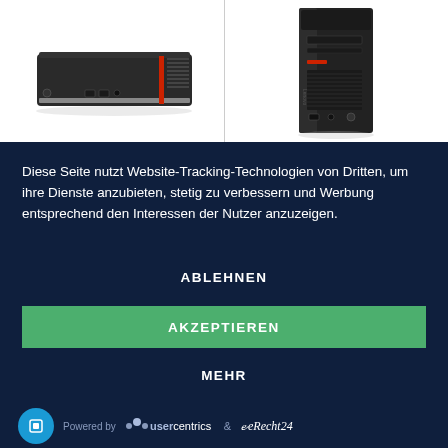[Figure (photo): Two Lenovo desktop computers: a small form factor mini PC (left) and a tower PC (right) on white background]
Diese Seite nutzt Website-Tracking-Technologien von Dritten, um ihre Dienste anzubieten, stetig zu verbessern und Werbung entsprechend den Interessen der Nutzer anzuzeigen.
ABLEHNEN
AKZEPTIEREN
MEHR
Powered by usercentrics & eRecht24